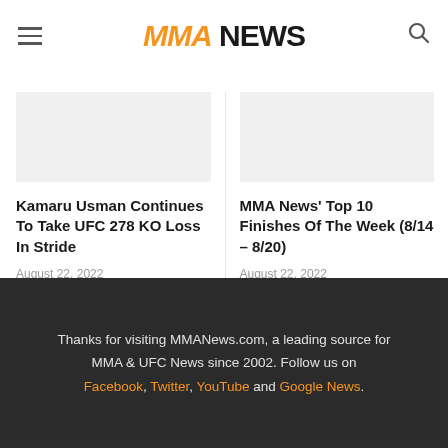MMA NEWS
Kamaru Usman Continues To Take UFC 278 KO Loss In Stride
August 22, 2022
MMA News' Top 10 Finishes Of The Week (8/14 – 8/20)
August 22, 2022
Thanks for visiting MMANews.com, a leading source for MMA & UFC News since 2002. Follow us on Facebook, Twitter, YouTube and Google News.